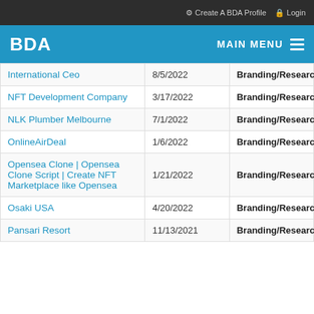Create A BDA Profile  Login
BDA  MAIN MENU
| Name | Date | Type |
| --- | --- | --- |
| International Ceo | 8/5/2022 | Branding/Research |
| NFT Development Company | 3/17/2022 | Branding/Research |
| NLK Plumber Melbourne | 7/1/2022 | Branding/Research |
| OnlineAirDeal | 1/6/2022 | Branding/Research |
| Opensea Clone | Opensea Clone Script | Create NFT Marketplace like Opensea | 1/21/2022 | Branding/Research |
| Osaki USA | 4/20/2022 | Branding/Research |
| Pansari Resort | 11/13/2021 | Branding/Research |